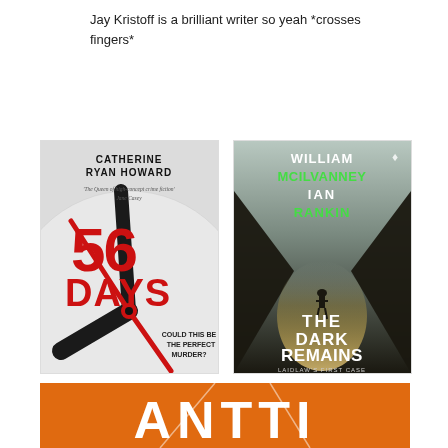Jay Kristoff is a brilliant writer so yeah *crosses fingers*
[Figure (photo): Book cover: 56 Days by Catherine Ryan Howard. Features a clock face with red and black clock hands. Large red text reads '56 DAYS'. Subtitle reads 'COULD THIS BE THE PERFECT MURDER?' Author name at top: CATHERINE RYAN HOWARD.]
[Figure (photo): Book cover: The Dark Remains by William McIlvanney and Ian Rankin. Dark atmospheric image of a lone figure walking down a dark corridor toward light. Authors' names appear at top in white and green. Title in large white text: THE DARK REMAINS. Subtitle: LAIDLAW'S FIRST CASE.]
[Figure (photo): Partial book cover with orange background and large white text beginning 'ANTTI'.]